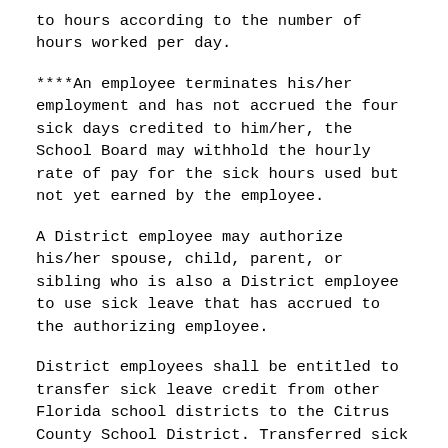to hours according to the number of hours worked per day.
****An employee terminates his/her employment and has not accrued the four sick days credited to him/her, the School Board may withhold the hourly rate of pay for the sick hours used but not yet earned by the employee.
A District employee may authorize his/her spouse, child, parent, or sibling who is also a District employee to use sick leave that has accrued to the authorizing employee.
District employees shall be entitled to transfer sick leave credit from other Florida school districts to the Citrus County School District. Transferred sick leave shall be in addition to sick leave in which a staff member is entitled from this District. The transferred leave which is credited to an employee's account shall not exceed the amount or rate earned during